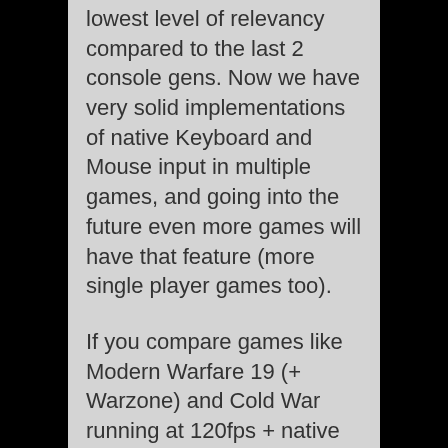lowest level of relevancy compared to the last 2 console gens. Now we have very solid implementations of native Keyboard and Mouse input in multiple games, and going into the future even more games will have that feature (more single player games too).
If you compare games like Modern Warfare 19 (+ Warzone) and Cold War running at 120fps + native keyboard and mouse input- it feels like PC literally. Compare that to Unreal